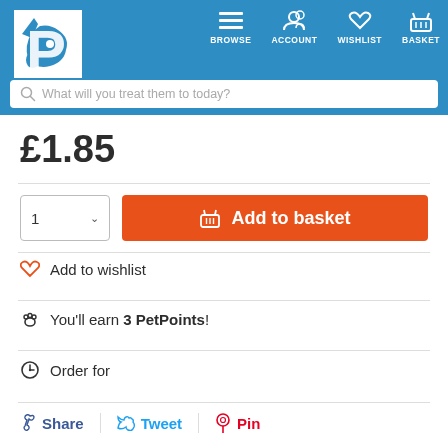PetPlanet header with logo, BROWSE, ACCOUNT, WISHLIST, BASKET navigation and search bar: What will you treat them to today?
£1.85
1  Add to basket
Add to wishlist
You'll earn 3 PetPoints!
Order for
Share  Tweet  Pin